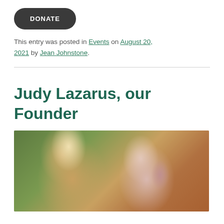[Figure (other): Dark rounded rectangle button with white text reading DONATE]
This entry was posted in Events on August 20, 2021 by Jean Johnstone.
Judy Lazarus, our Founder
[Figure (photo): Photo of an older woman with short gray hair wearing a red shirt, smiling next to a chestnut/palomino horse with a blond mane, outdoors with green foliage in background]